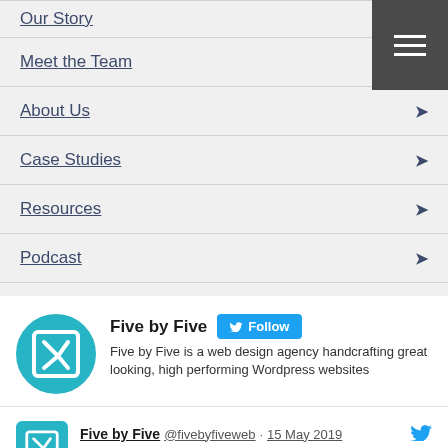Our Story
Meet the Team
About Us
Case Studies
Resources
Podcast
Five by Five  Follow  Five by Five is a web design agency handcrafting great looking, high performing Wordpress websites
Five by Five @fivebyfiveweb · 15 May 2019  Are you wanting a website quote? Click the link